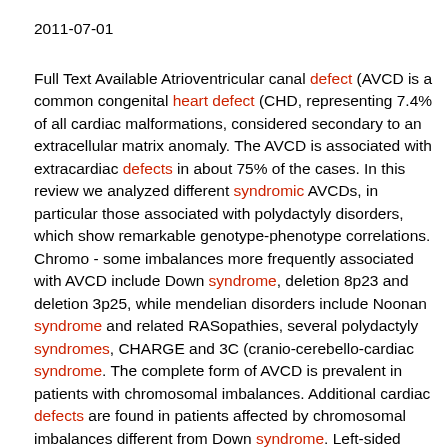2011-07-01
Full Text Available Atrioventricular canal defect (AVCD is a common congenital heart defect (CHD, representing 7.4% of all cardiac malformations, considered secondary to an extracellular matrix anomaly. The AVCD is associated with extracardiac defects in about 75% of the cases. In this review we analyzed different syndromic AVCDs, in particular those associated with polydactyly disorders, which show remarkable genotype-phenotype correlations. Chromo - some imbalances more frequently associated with AVCD include Down syndrome, deletion 8p23 and deletion 3p25, while mendelian disorders include Noonan syndrome and related RASopathies, several polydactyly syndromes, CHARGE and 3C (cranio-cerebello-cardiac syndrome. The complete form of AVCD is prevalent in patients with chromosomal imbalances. Additional cardiac defects are found in patients affected by chromosomal imbalances different from Down syndrome. Left-sided obstructive lesions are prevalently found in patients with RASopathies. Patients with deletion 8p23 often display AVCD with tetralogy of Fallot or with pulmonary valve stenosis. Tetralogy of Fallot is the only additional cardiac defect found in